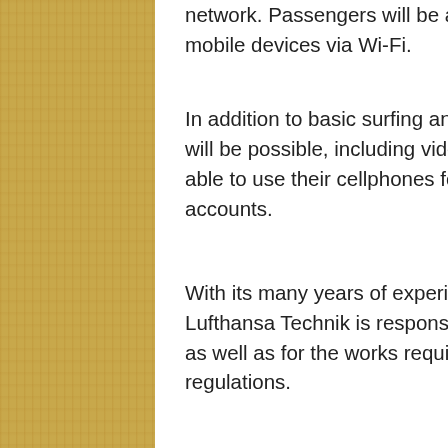network. Passengers will be able to access the internet using their own mobile devices via Wi-Fi.
In addition to basic surfing and email, other more sophisticated applications will be possible, including video streaming. At a later date passengers will be able to use their cellphones for SMS and data transfer via their own mobile accounts.
With its many years of experience in the aircraft modification sector, Lufthansa Technik is responsible for installing all systems and components as well as for the works required to comply with aeronautical and statutory regulations.
In Europe, this was the first successful installation involving the GX communications network and the Honeywell-designed Ka-band antenna. To